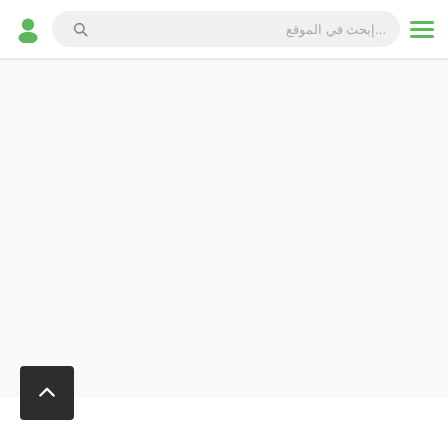[Figure (screenshot): Website header navigation bar with a green user icon on the left, a rounded search bar with Arabic placeholder text 'إبحث في الموقع...' and a search magnifier icon, and a green hamburger menu icon on the right.]
[Figure (screenshot): Light gray content area below the header, mostly empty/blank.]
[Figure (screenshot): Dark square scroll-to-top button with a white upward chevron arrow, positioned at the bottom left of the page.]